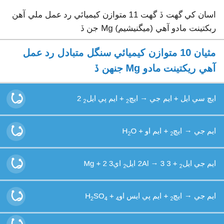اسان کي گهت ڏ گهت 11 متوازن کيميائي رد عمل ملي آهن ربکتينت مادو آهي (ميگنيشيم) Mg جن ڏ
مثيان 10 متوازن کيميائي سنگل متبادل رد عمل آهي ريکتينت مادو Mg جنهن ڏ
ايچ سي ايل + ايم جي → ايچ 2 + ايم پي ايل 2 2
ايم جي → ايچ 2 + ايم او + H2O
ايم جي ايل 2 + 3 2Al → 3 ايل 2 ايM g + 2 3
ايم جي → ايچ 2 + ايم پي ايس اوM + H2SO4
...